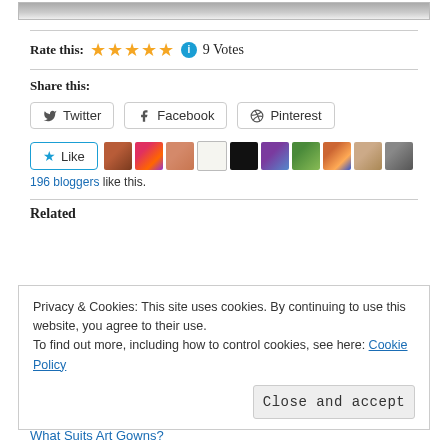[Figure (screenshot): Top portion of a webpage image, gray gradient banner]
Rate this: ★★★★★ ℹ 9 Votes
Share this:
Twitter  Facebook  Pinterest (share buttons)
★ Like  [blogger avatars]  196 bloggers like this.
Related
Privacy & Cookies: This site uses cookies. By continuing to use this website, you agree to their use.
To find out more, including how to control cookies, see here: Cookie Policy
Close and accept
What Suits Art Gowns?